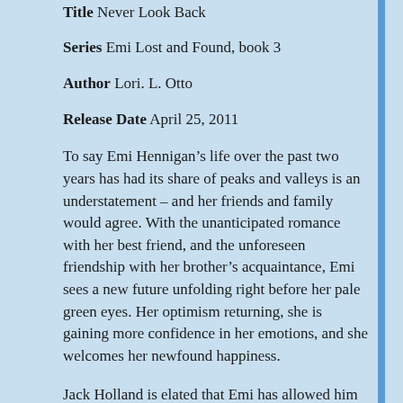Title Never Look Back
Series Emi Lost and Found, book 3
Author Lori. L. Otto
Release Date April 25, 2011
To say Emi Hennigan’s life over the past two years has had its share of peaks and valleys is an understatement – and her friends and family would agree. With the unanticipated romance with her best friend, and the unforeseen friendship with her brother’s acquaintance, Emi sees a new future unfolding right before her pale green eyes. Her optimism returning, she is gaining more confidence in her emotions, and she welcomes her newfound happiness.
Jack Holland is elated that Emi has allowed him into her life. For him, it was love at first sight when they met in college, and after years of keeping his feelings in check at the advice of his best friend, he is finally free to express to Emi exactly how she affects him. Always practical and level-headed, the emotions are overwhelming. Jack and…